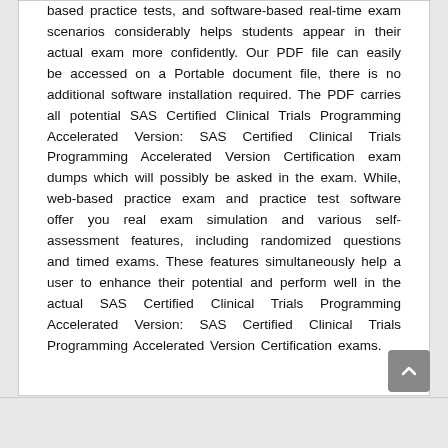based practice tests, and software-based real-time exam scenarios considerably helps students appear in their actual exam more confidently. Our PDF file can easily be accessed on a Portable document file, there is no additional software installation required. The PDF carries all potential SAS Certified Clinical Trials Programming Accelerated Version: SAS Certified Clinical Trials Programming Accelerated Version Certification exam dumps which will possibly be asked in the exam. While, web-based practice exam and practice test software offer you real exam simulation and various self-assessment features, including randomized questions and timed exams. These features simultaneously help a user to enhance their potential and perform well in the actual SAS Certified Clinical Trials Programming Accelerated Version: SAS Certified Clinical Trials Programming Accelerated Version Certification exams.